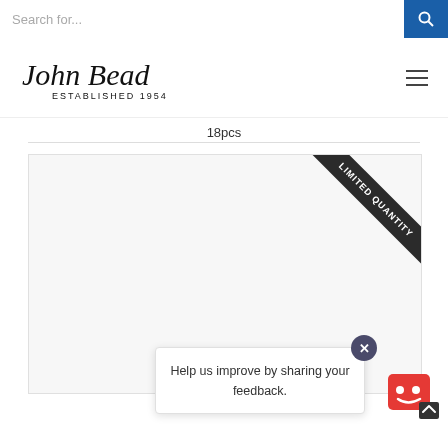Search for...
[Figure (logo): John Bead ESTABLISHED 1954 cursive logo]
18pcs
[Figure (photo): Product image area with LIMITED QUANTITY ribbon banner in top-right corner]
Help us improve by sharing your feedback.